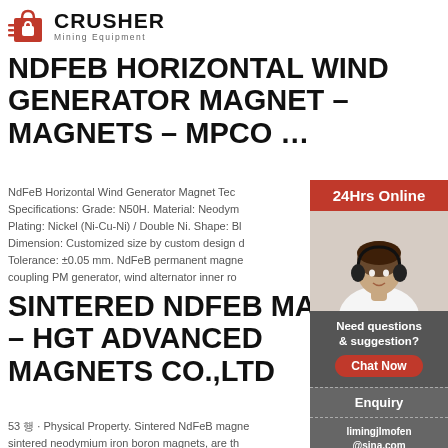[Figure (logo): Crusher Mining Equipment logo with red shopping bag icon and bold black CRUSHER text, subtitle Mining Equipment]
NDFEB HORIZONTAL WIND GENERATOR MAGNET – MAGNETS – MPCO …
NdFeB Horizontal Wind Generator Magnet Tech Specifications: Grade: N50H. Material: Neodym Plating: Nickel (Ni-Cu-Ni) / Double Ni. Shape: Bl Dimension: Customized size by custom design d Tolerance: ±0.05 mm. NdFeB permanent magne coupling PM generator, wind alternator inner ro
SINTERED NDFEB MAG – HGT ADVANCED MAGNETS CO.,LTD
53 행 · Physical Property. Sintered NdFeB magne sintered neodymium iron boron magnets, are th
[Figure (photo): Customer service representative with headset, sidebar panel showing 24Hrs Online, Need questions & suggestion, Chat Now button, Enquiry, limingjlmofen@sina.com]